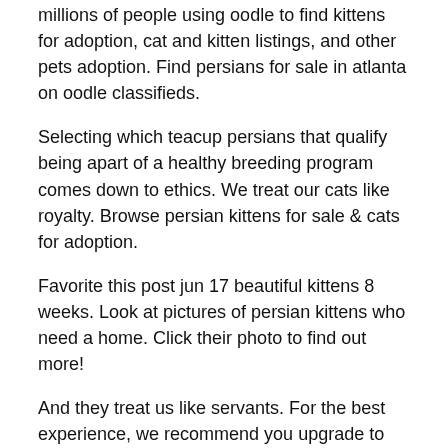millions of people using oodle to find kittens for adoption, cat and kitten listings, and other pets adoption. Find persians for sale in atlanta on oodle classifieds.
Selecting which teacup persians that qualify being apart of a healthy breeding program comes down to ethics. We treat our cats like royalty. Browse persian kittens for sale & cats for adoption.
Favorite this post jun 17 beautiful kittens 8 weeks. Look at pictures of persian kittens who need a home. Click their photo to find out more!
And they treat us like servants. For the best experience, we recommend you upgrade to the latest version of chrome or safari. All kittens come with pedigrees, a royal canin starter kit for kittens, a litter pan and some world's best cat litter, and a can of evaporated milk.
Combine your search with another type...